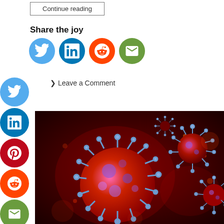Continue reading
Share the joy
[Figure (infographic): Row of social share icon circles: Twitter (light blue), LinkedIn (dark blue), Reddit (orange), Email (green)]
Leave a Comment
[Figure (infographic): Vertical sidebar of social share icon circles: Twitter, LinkedIn, Pinterest, Reddit, Email, Yummly, More (+)]
[Figure (photo): 3D rendered image of coronavirus particles, spiky spherical virus structures in red and purple tones on a dark red background]